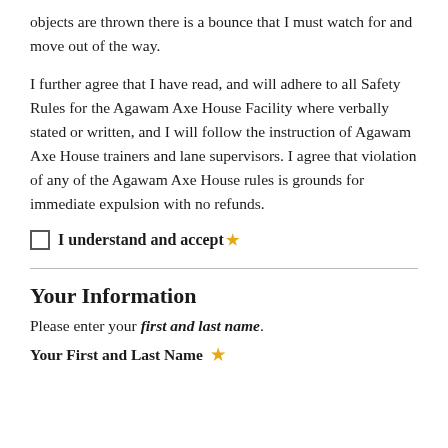objects are thrown there is a bounce that I must watch for and move out of the way.
I further agree that I have read, and will adhere to all Safety Rules for the Agawam Axe House Facility where verbally stated or written, and I will follow the instruction of Agawam Axe House trainers and lane supervisors. I agree that violation of any of the Agawam Axe House rules is grounds for immediate expulsion with no refunds.
I understand and accept ★
Your Information
Please enter your first and last name.
Your First and Last Name ★